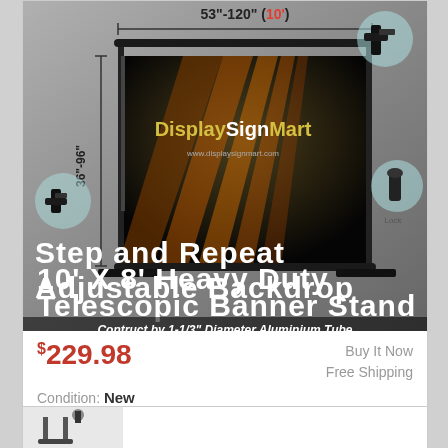[Figure (photo): Product listing photo of a 10' X 8' Heavy Duty Telescopic Banner Stand Step and Repeat Adjustable Backdrop showing the stand with a DisplaySignMart banner, dimension arrows (53"-120" width, 36"-96" height), and hardware detail insets. Overlaid product title and subtitle text.]
$229.98
Buy It Now
Free Shipping
Condition: New
Location: Chino, United States
Heavy Duty 10' Telescopic Expanding Banner Display Stand(Black) Features: The best quality. Most cost effective wide graphic display. Durable and ... more
[Figure (photo): Partial view of another product at the bottom of the page.]